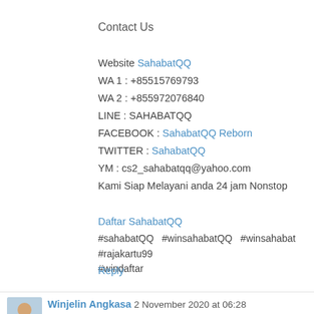Contact Us
Website SahabatQQ
WA 1 : +85515769793
WA 2 : +855972076840
LINE : SAHABATQQ
FACEBOOK : SahabatQQ Reborn
TWITTER : SahabatQQ
YM : cs2_sahabatqq@yahoo.com
Kami Siap Melayani anda 24 jam Nonstop
Daftar SahabatQQ
#sahabatQQ  #winsahabatQQ  #winsahabat  #rajakartu99
#windaftar
Reply
Winjelin Angkasa 2 November 2020 at 06:28
Nikmati Bonus Menarik Dari Bolavita Sekarang...
-Nikmati Bous New member 10%
-Nikmati Bonus Cashback Hingga 10%